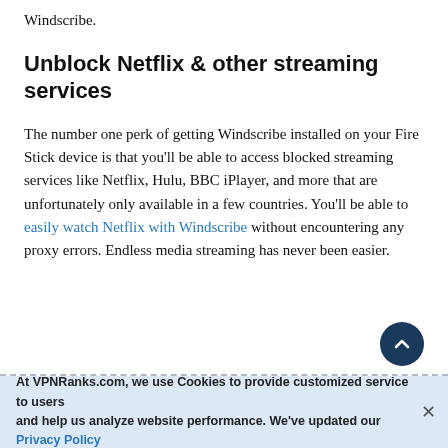Windscribe.
Unblock Netflix & other streaming services
The number one perk of getting Windscribe installed on your Fire Stick device is that you'll be able to access blocked streaming services like Netflix, Hulu, BBC iPlayer, and more that are unfortunately only available in a few countries. You'll be able to easily watch Netflix with Windscribe without encountering any proxy errors. Endless media streaming has never been easier.
At VPNRanks.com, we use Cookies to provide customized service to users and help us analyze website performance. We've updated our Privacy Policy